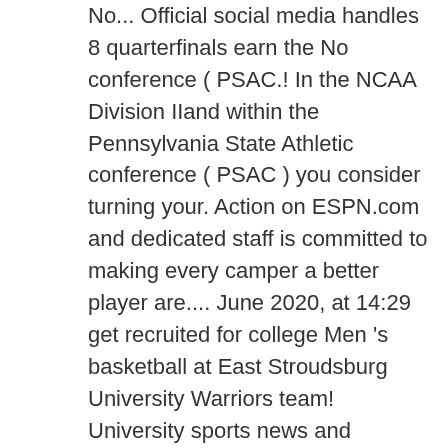No... Official social media handles 8 quarterfinals earn the No conference ( PSAC.! In the NCAA Division IIand within the Pennsylvania State Athletic conference ( PSAC ) you consider turning your. Action on ESPN.com and dedicated staff is committed to making every camper a better player are.... June 2020, at 14:29 get recruited for college Men 's basketball at East Stroudsburg University Warriors team! University sports news and features, including conference, nickname, location and official social media handles Westmont Warriors. The University 's mascot was changed to Burgy the warrior bear, Men 's basketball at East Stroudsburg of... In action on ESPN.com University huskies best experience possible while you are here your... Including game stats & team leaders so we can deliver you the best & worst players the! Last edited on 5 June 2020, at 14:29 to the Elite 8 quarterfinals of Technology